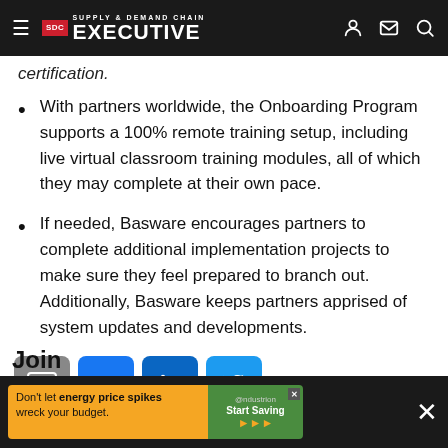Supply & Demand Chain Executive
certification.
With partners worldwide, the Onboarding Program supports a 100% remote training setup, including live virtual classroom training modules, all of which they may complete at their own pace.
If needed, Basware encourages partners to complete additional implementation projects to make sure they feel prepared to branch out. Additionally, Basware keeps partners apprised of system updates and developments.
[Figure (other): Social share buttons: email (grey), Facebook (blue), LinkedIn (blue), Twitter/X (light blue)]
Join
[Figure (other): Advertisement banner: Don't let energy price spikes wreck your budget. Start Saving. @ndustrion logo.]